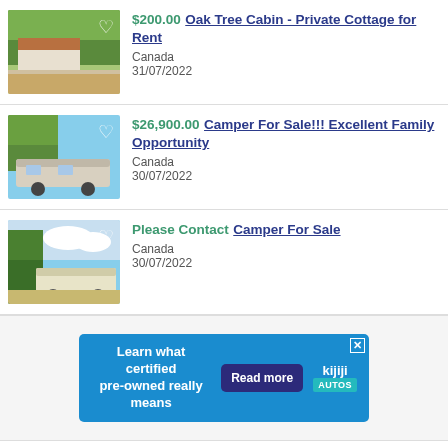$200.00 Oak Tree Cabin - Private Cottage for Rent
Canada
31/07/2022
$26,900.00 Camper For Sale!!! Excellent Family Opportunity
Canada
30/07/2022
Please Contact Camper For Sale
Canada
30/07/2022
[Figure (infographic): Kijiji Autos advertisement banner: 'Learn what certified pre-owned really means' with 'Read more' button and Kijiji Autos logo]
Please Contact [partial listing cut off at bottom]